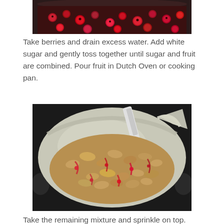[Figure (photo): Top portion of a dark cooking pot filled with berries, showing a close-up of dark red/purple berries from above]
Take berries and drain excess water. Add white sugar and gently toss together until sugar and fruit are combined. Pour fruit in Dutch Oven or cooking pan.
[Figure (photo): A Dutch Oven lined with aluminum foil containing a crumble topping mixture with visible red berry juice streaks throughout]
Take the remaining mixture and sprinkle on top. Drizzle a little bit of the remaining juice on top for flavor.
Bake at 350 degrees until fruit filling begins to bubble.